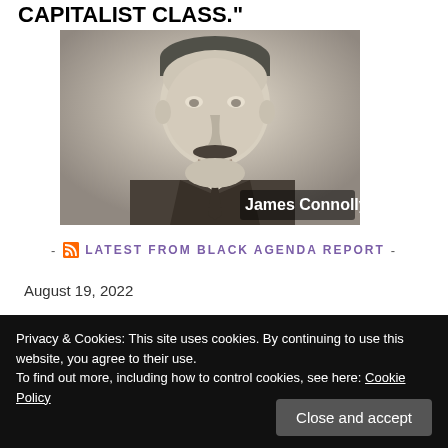[Figure (photo): Black and white portrait photo of James Connolly with text 'CAPITALIST CLASS.' above and 'James Connolly' label overlaid on the image]
- LATEST FROM BLACK AGENDA REPORT -
Black Agenda Radio August 19, 2022 August 19, 2022
Privacy & Cookies: This site uses cookies. By continuing to use this website, you agree to their use.
To find out more, including how to control cookies, see here: Cookie Policy
Close and accept